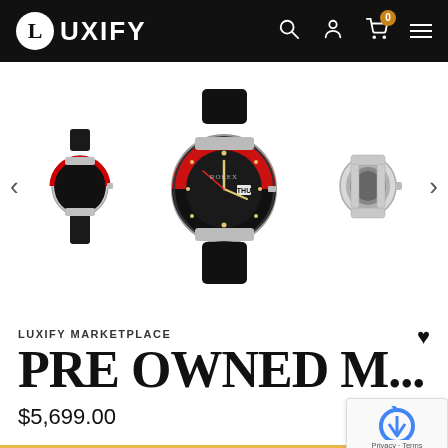LUXIFY
[Figure (photo): Three views of a Rolex GMT-Master II watch with black and red bezel on black strap. Left: small side view, Center: large front face view showing ROLEX dial, Right: small case-only view without strap.]
LUXIFY MARKETPLACE
PRE OWNED M...
$5,699.00